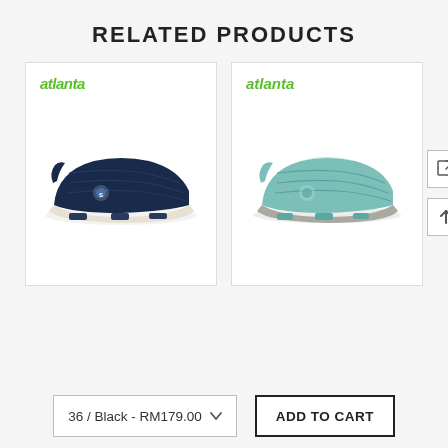RELATED PRODUCTS
[Figure (photo): Navy blue slip-on sneaker with white sole and Atlanta brand logo]
[Figure (photo): Teal/light blue slip-on sneaker with gray sole and Atlanta brand logo]
36 / Black - RM179.00
ADD TO CART